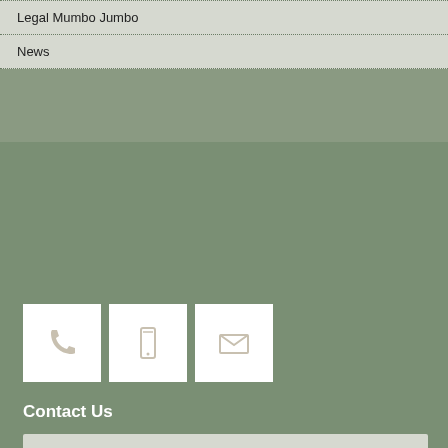Legal Mumbo Jumbo
News
[Figure (illustration): Three white square icon boxes on a sage green background: a telephone handset icon, a mobile phone icon, and an envelope/email icon]
Contact Us
Give Bare Bones Consulting a call to discuss our range of HR services to help your business succeed.
Even if you elect to not proceed after our first complimentary consultation you'll be in a better position to know what's possible.
We believe our approach to HR is unique… but then again, so is your business.